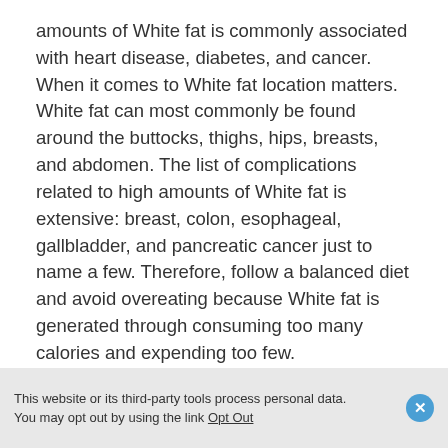amounts of White fat is commonly associated with heart disease, diabetes, and cancer. When it comes to White fat location matters. White fat can most commonly be found around the buttocks, thighs, hips, breasts, and abdomen. The list of complications related to high amounts of White fat is extensive: breast, colon, esophageal, gallbladder, and pancreatic cancer just to name a few. Therefore, follow a balanced diet and avoid overeating because White fat is generated through consuming too many calories and expending too few.
The Skinny
In Short, Both Brown and White fat are necessary for
This website or its third-party tools process personal data. You may opt out by using the link Opt Out